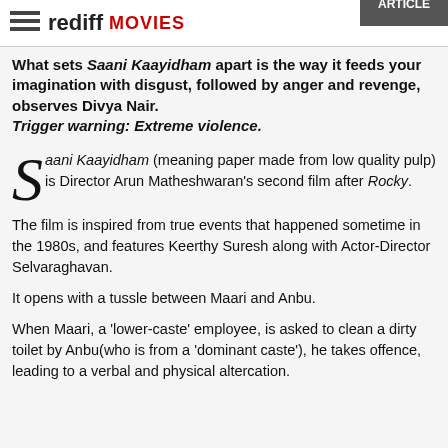rediff MOVIES
What sets Saani Kaayidham apart is the way it feeds your imagination with disgust, followed by anger and revenge, observes Divya Nair. Trigger warning: Extreme violence.
Saani Kaayidham (meaning paper made from low quality pulp) is Director Arun Matheshwaran's second film after Rocky.
The film is inspired from true events that happened sometime in the 1980s, and features Keerthy Suresh along with Actor-Director Selvaraghavan.
It opens with a tussle between Maari and Anbu.
When Maari, a 'lower-caste' employee, is asked to clean a dirty toilet by Anbu(who is from a 'dominant caste'), he takes offence, leading to a verbal and physical altercation.